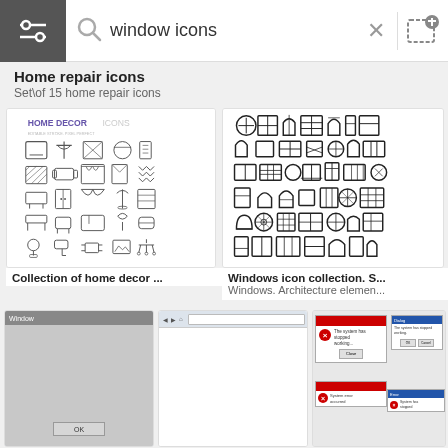window icons — search bar UI
Home repair icons
Set\of 15 home repair icons
[Figure (illustration): Home Decor Icons set — line icons for furniture, curtains, lamps, beds, chairs, tables on white background]
Collection of home decor ...
[Figure (illustration): Windows icon collection — various window styles shown as outline icons in a grid]
Windows icon collection. S...
Windows. Architecture elemen...
[Figure (screenshot): Screenshot of a gray Windows-style dialog box]
[Figure (screenshot): Screenshot of a white browser window]
[Figure (screenshot): Screenshot of Windows error/dialog popups]